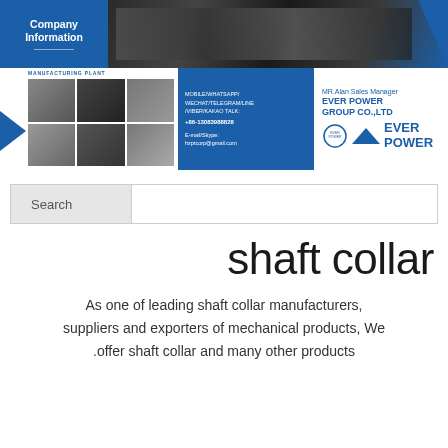[Figure (infographic): Company information banner for Ever Power Group Co., Ltd showing manufacturing facility photos, contact details (Mobile/WhatsApp/WeChat/Telegram/Line/Viber/Kakao Talk, +86-13083988828, E-mail/Skype: hzptcorp@gmail.com), and MR. Alan Sales Manager branding with Ever Power logo]
Search
shaft collar
As one of leading shaft collar manufacturers, suppliers and exporters of mechanical products, We .offer shaft collar and many other products